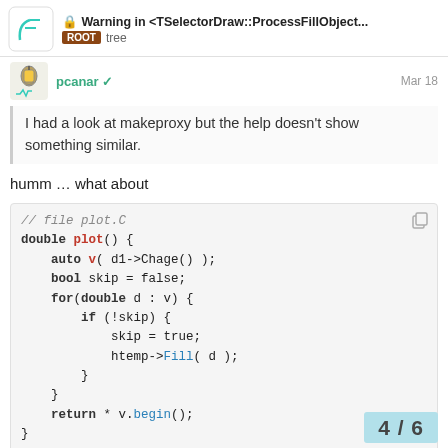Warning in <TSelectorDraw::ProcessFillObject... | ROOT tree
pcanar | Mar 18
I had a look at makeproxy but the help doesn't show something similar.
humm … what about
// file plot.C
double plot() {
    auto v( d1->Chage() );
    bool skip = false;
    for(double d : v) {
        if (!skip) {
            skip = true;
            htemp->Fill( d );
        }
    }
    return * v.begin();
}
4 / 6